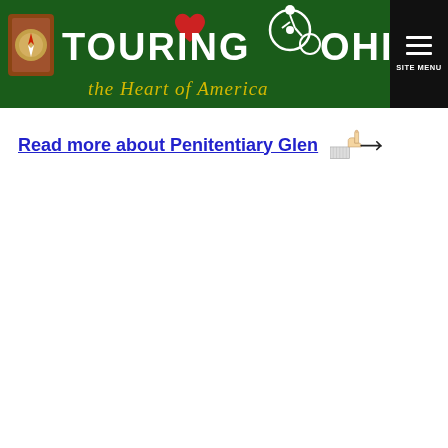Touring Ohio – the Heart of America | SITE MENU
Read more about Penitentiary Glen